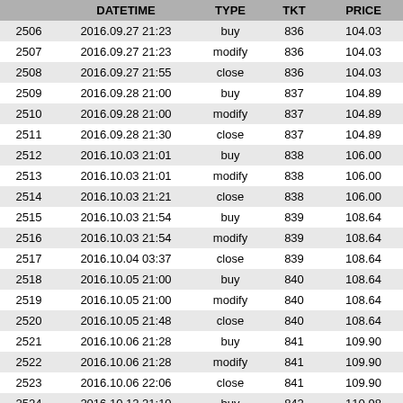|  | DATETIME | TYPE | TKT | PRICE | 1.4 |
| --- | --- | --- | --- | --- | --- |
| 2506 | 2016.09.27 21:23 | buy | 836 | 104.03 | 1.4 |
| 2507 | 2016.09.27 21:23 | modify | 836 | 104.03 | 1.4 |
| 2508 | 2016.09.27 21:55 | close | 836 | 104.03 | 1.4 |
| 2509 | 2016.09.28 21:00 | buy | 837 | 104.89 | 1.4 |
| 2510 | 2016.09.28 21:00 | modify | 837 | 104.89 | 1.4 |
| 2511 | 2016.09.28 21:30 | close | 837 | 104.89 | 1.4 |
| 2512 | 2016.10.03 21:01 | buy | 838 | 106.00 | 1.4 |
| 2513 | 2016.10.03 21:01 | modify | 838 | 106.00 | 1.4 |
| 2514 | 2016.10.03 21:21 | close | 838 | 106.00 | 1.4 |
| 2515 | 2016.10.03 21:54 | buy | 839 | 108.64 | 1.4 |
| 2516 | 2016.10.03 21:54 | modify | 839 | 108.64 | 1.4 |
| 2517 | 2016.10.04 03:37 | close | 839 | 108.64 | 1.4 |
| 2518 | 2016.10.05 21:00 | buy | 840 | 108.64 | 1.4 |
| 2519 | 2016.10.05 21:00 | modify | 840 | 108.64 | 1.4 |
| 2520 | 2016.10.05 21:48 | close | 840 | 108.64 | 1.4 |
| 2521 | 2016.10.06 21:28 | buy | 841 | 109.90 | 1.4 |
| 2522 | 2016.10.06 21:28 | modify | 841 | 109.90 | 1.4 |
| 2523 | 2016.10.06 22:06 | close | 841 | 109.90 | 1.4 |
| 2524 | 2016.10.12 21:10 | buy | 842 | 110.98 | 1.4 |
| 2525 | 2016.10.12 21:10 | modify | 842 | 110.98 | 1.4 |
| 2526 | 2016.10.12 21:45 | close | 842 | 110.98 | 1.4 |
| 2527 | 2016.10.17 21:00 | buy | 843 | 111.84 | 1.4 |
| 2528 | 2016.10.17 21:00 | modify | 843 | 111.84 | 1.4 |